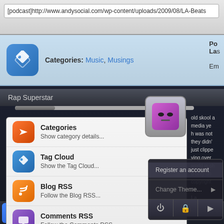[Figure (screenshot): Screenshot of a MythTV/media center interface showing a web browser with URL bar containing podcast URL, a Categories row with tag icon showing 'Categories: Music, Musings', a 'Rap Superstar' section, a dropdown menu with Categories, Tag Cloud, Blog RSS, Comments RSS, Last 50 Posts items, a search bar, a user avatar context menu with 'Register an account' and 'Change Theme...' options, and a taskbar with Home, MythTV, Who is buttons.]